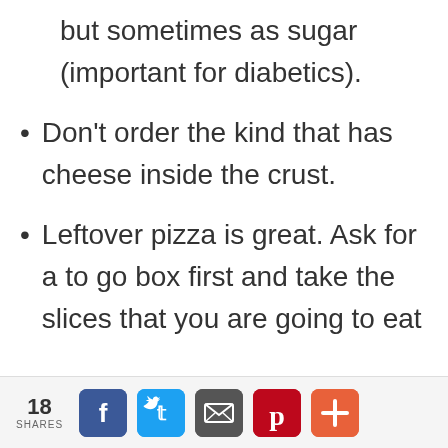but sometimes as sugar (important for diabetics).
Don't order the kind that has cheese inside the crust.
Leftover pizza is great. Ask for a to go box first and take the slices that you are going to eat
18 SHARES